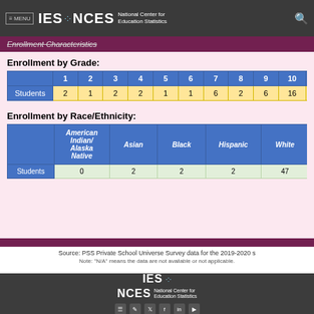≡ MENU  IES · NCES National Center for Education Statistics
Enrollment Characteristics
Enrollment by Grade:
|  | 1 | 2 | 3 | 4 | 5 | 6 | 7 | 8 | 9 | 10 | 11 | 12 |
| --- | --- | --- | --- | --- | --- | --- | --- | --- | --- | --- | --- | --- |
| Students | 2 | 1 | 2 | 2 | 1 | 1 | 6 | 2 | 6 | 16 | 6 | 8 |
Enrollment by Race/Ethnicity:
|  | American Indian/ Alaska Native | Asian | Black | Hispanic | White | Native Hawaiian/ Pacific Islander |
| --- | --- | --- | --- | --- | --- | --- |
| Students | 0 | 2 | 2 | 2 | 47 |  |
Source: PSS Private School Universe Survey data for the 2019-2020 s
Note: "N/A" means the data are not available or not applicable.
IES · NCES National Center for Education Statistics